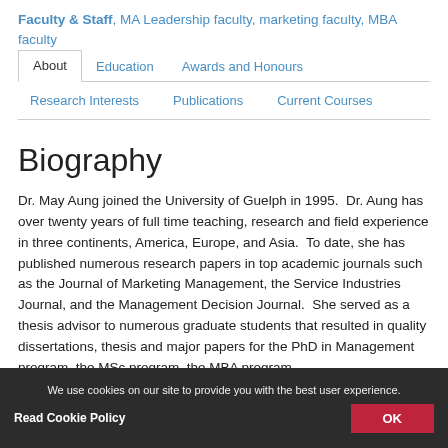Faculty & Staff, MA Leadership faculty, marketing faculty, MBA faculty
About · Education · Awards and Honours · Research Interests · Publications · Current Courses
Biography
Dr. May Aung joined the University of Guelph in 1995. Dr. Aung has over twenty years of full time teaching, research and field experience in three continents, America, Europe, and Asia. To date, she has published numerous research papers in top academic journals such as the Journal of Marketing Management, the Service Industries Journal, and the Management Decision Journal. She served as a thesis advisor to numerous graduate students that resulted in quality dissertations, thesis and major papers for the PhD in Management program, the MSc program, the MBA program
We use cookies on our site to provide you with the best user experience.
Read Cookie Policy
OK